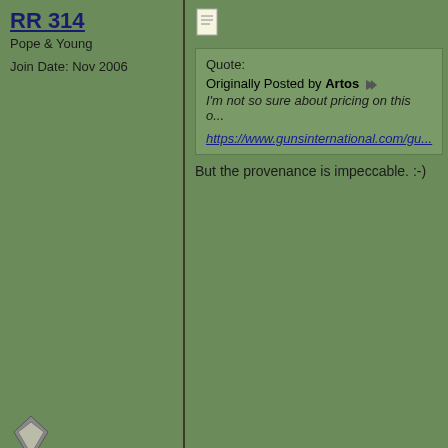RR 314
Pope & Young
Join Date: Nov 2006
[Figure (screenshot): Post icon (notepad image)]
Quote: Originally Posted by Artos
I'm not so sure about pricing on this o...
https://www.gunsinternational.com/gu...
But the provenance is impeccable. :-)
11-17-2021, 01:11 PM
Drycreek3189
Pope & Young
[Figure (logo): Supporting Member badge with Texas star logo]
[Figure (photo): Avatar photo of a squirrel on a tree]
[Figure (screenshot): Post icon (notepad image)]
I'd buy a pair but since there's only one…